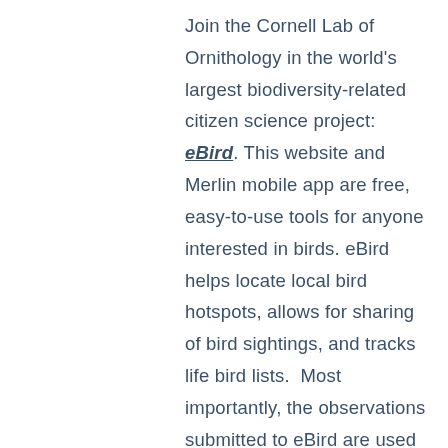Join the Cornell Lab of Ornithology in the world's largest biodiversity-related citizen science project: eBird. This website and Merlin mobile app are free, easy-to-use tools for anyone interested in birds. eBird helps locate local bird hotspots, allows for sharing of bird sightings, and tracks life bird lists. Most importantly, the observations submitted to eBird are used for research.